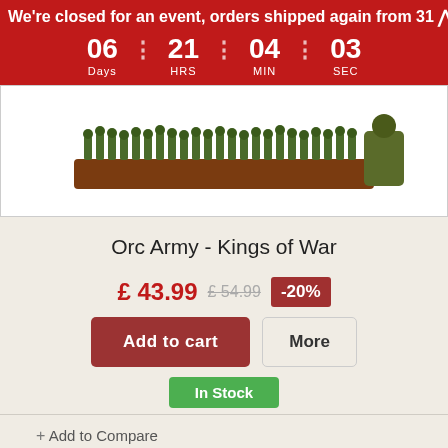We're closed for an event, orders shipped again from 31
06 Days | 21 HRS | 04 MIN | 03 SEC
[Figure (photo): Orc army miniatures on a display base, showing a large group of fantasy miniatures painted green on a brown/red base]
Orc Army - Kings of War
£ 43.99  £ 54.99  -20%
Add to cart  More
In Stock
+ Add to Compare